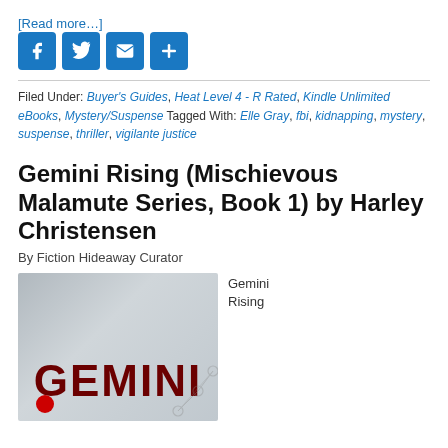[Read more…]
[Figure (other): Social sharing icons: Facebook, Twitter, Email, Share (plus icon), all in blue square buttons]
Filed Under: Buyer's Guides, Heat Level 4 - R Rated, Kindle Unlimited eBooks, Mystery/Suspense Tagged With: Elle Gray, fbi, kidnapping, mystery, suspense, thriller, vigilante justice
Gemini Rising (Mischievous Malamute Series, Book 1) by Harley Christensen
By Fiction Hideaway Curator
[Figure (photo): Book cover image for Gemini Rising showing dark red bold text 'GEMINI' on a gray technology/network background]
Gemini Rising